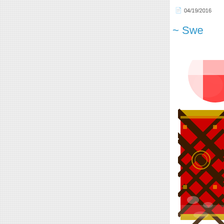04/19/2016
~ Swe
[Figure (photo): Partial view of a red decorative Chinese-style box or lantern with gold and dark brown geometric patterns, on a white background with red blur in upper right]